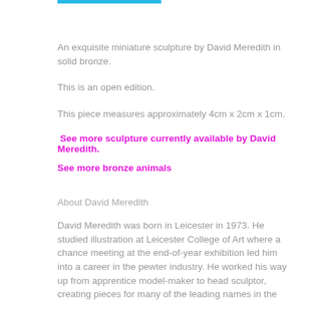An exquisite miniature sculpture by David Meredith in solid bronze.
This is an open edition.
This piece measures approximately 4cm x 2cm x 1cm.
See more sculpture currently available by David Meredith.
See more bronze animals
About David Meredith
David Meredith was born in Leicester in 1973. He studied illustration at Leicester College of Art where a chance meeting at the end-of-year exhibition led him into a career in the pewter industry. He worked his way up from apprentice model-maker to head sculptor, creating pieces for many of the leading names in the